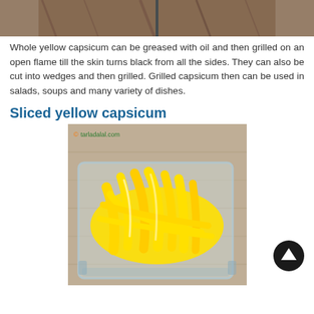[Figure (photo): Top portion of a grilled capsicum photo, showing dark wooden background, partial view cropped at top of page]
Whole yellow capsicum can be greased with oil and then grilled on an open flame till the skin turns black from all the sides. They can also be cut into wedges and then grilled. Grilled capsicum then can be used in salads, soups and many variety of dishes.
Sliced yellow capsicum
[Figure (photo): Photo of sliced yellow capsicum strips in a clear glass bowl on a wooden table, with tarladalal.com watermark]